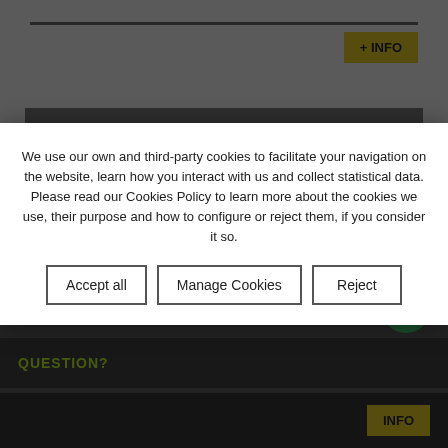[Figure (screenshot): Website page header with dark horizontal bar at top and yellow '+INFO' button]
For sale 6.000 €
We use our own and third-party cookies to facilitate your navigation on the website, learn how you interact with us and collect statistical data. Please read our Cookies Policy to learn more about the cookies we use, their purpose and how to configure or reject them, if you consider it so.
Accept all | Manage Cookies | Reject
QUESTION?